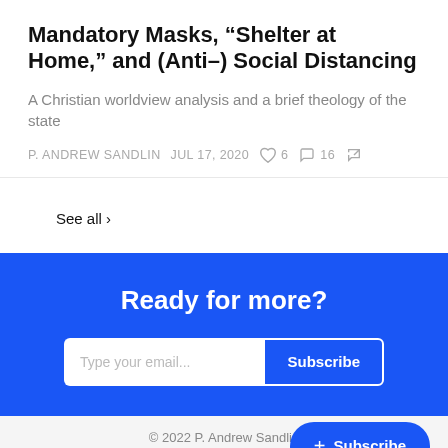Mandatory Masks, “Shelter at Home,” and (Anti–) Social Distancing
A Christian worldview analysis and a brief theology of the state
P. ANDREW SANDLIN   JUL 17, 2020   ♥ 6   💬 16
See all ›
Ready for more?
Type your email... Subscribe
© 2022 P. Andrew Sandlin
Privacy   Terms   Collection notice